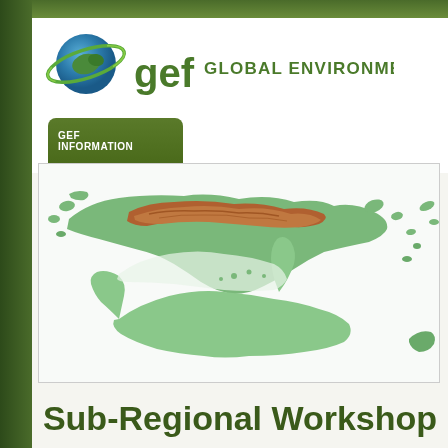[Figure (logo): GEF Global Environment Facility logo with globe icon and text]
[Figure (map): Topographic/relief map showing Papua New Guinea and northern Australia region with green land masses and reddish mountain ranges]
Sub-Regional Workshop